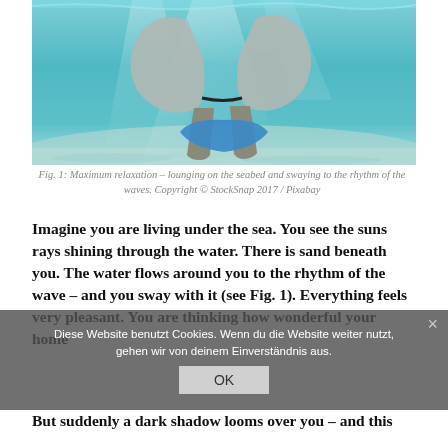[Figure (photo): Underwater photo showing person's legs with swim fins, resting on sandy seabed with light filtering through clear turquoise water above.]
Fig. 1: Maximum relaxation – lounging on the seabed and swaying to the rhythm of the waves. Copyright © StockSnap 2017 / Pixabay
Imagine you are living under the sea. You see the suns rays shining through the water. There is sand beneath you. The water flows around you to the rhythm of the wave – and you sway with it (see Fig. 1). Everything feels very pleasant. You are thinking how wonderful your home is, how beautiful, how relaxing is perfect.
But suddenly a dark shadow looms over you – and this